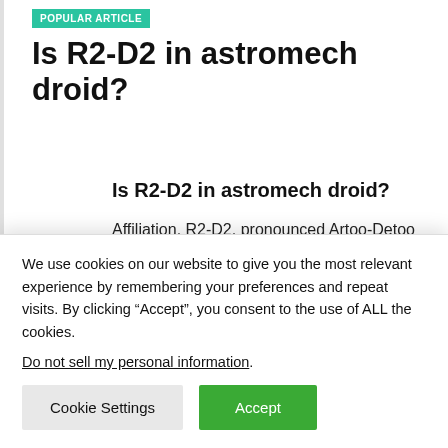POPULAR ARTICLE
Is R2-D2 in astromech droid?
Is R2-D2 in astromech droid?
Affiliation. R2-D2, pronounced Artoo-Detoo and often referred to as R2 (Artoo), was an R2-
We use cookies on our website to give you the most relevant experience by remembering your preferences and repeat visits. By clicking “Accept”, you consent to the use of ALL the cookies.
Do not sell my personal information.